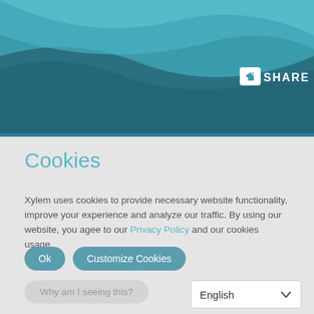[Figure (illustration): Teal/aqua wave-shaped decorative header banner with a SHARE button in the top right corner]
Cookies
Xylem uses cookies to provide necessary website functionality, improve your experience and analyze our traffic. By using our website, you agree to our Privacy Policy and our cookies usage.
Ok
Customize Cookies
Why am I seeing this?
English